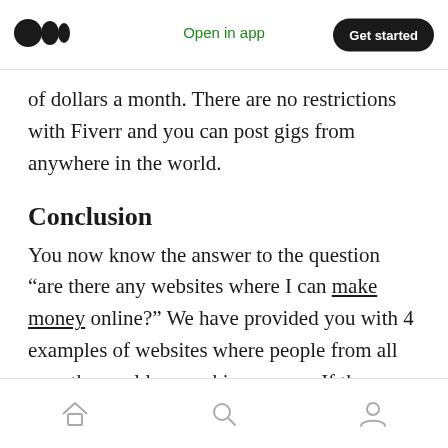Open in app | Get started
of dollars a month. There are no restrictions with Fiverr and you can post gigs from anywhere in the world.
Conclusion
You now know the answer to the question “are there any websites where I can make money online?” We have provided you with 4 examples of websites where people from all over the world are making money. If they can do it then so can you. The important thing is that you take action.
Home | Search | Profile